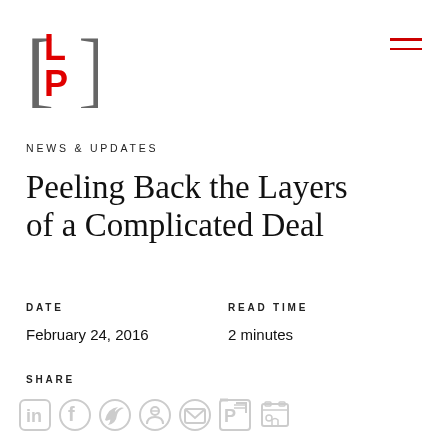[Figure (logo): LP law firm logo with red L and P letters inside brackets]
NEWS & UPDATES
Peeling Back the Layers of a Complicated Deal
DATE
February 24, 2016
READ TIME
2 minutes
SHARE
[Figure (infographic): Social share icons: LinkedIn, Facebook, Twitter, Pinterest, Email, PDF, Print — all in light gray]